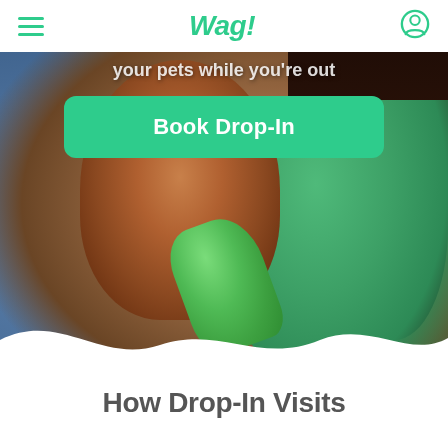Wag!
your pets while you're out
Book Drop-In
[Figure (photo): A woman in a green Wag! t-shirt sitting on a couch holding a French Bulldog wearing a green bandana, offering the dog a green toy. The woman has long dark hair.]
How Drop-In Visits